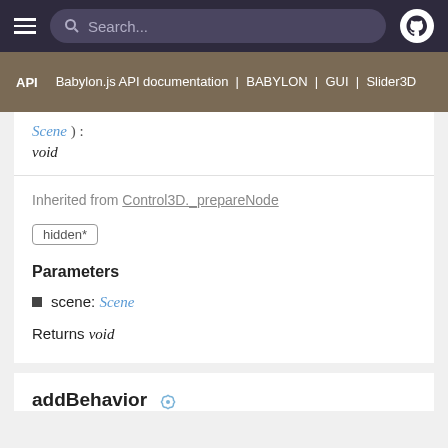Search... | Babylon.js API documentation | BABYLON | GUI | Slider3D
Scene) : void
Inherited from Control3D._prepareNode
hidden*
Parameters
scene: Scene
Returns void
addBehavior